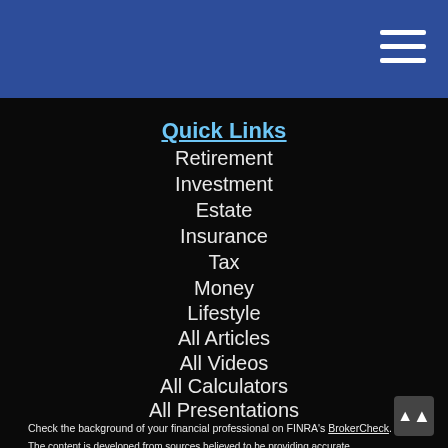Quick Links
Retirement
Investment
Estate
Insurance
Tax
Money
Lifestyle
All Articles
All Videos
All Calculators
All Presentations
Check the background of your financial professional on FINRA's BrokerCheck.
The content is developed from sources believed to be providing accurate information. The information in this material is not intended as tax or legal advice. Please consult legal or tax professionals for specific information regarding your individual situation. Some of this material was developed and produced by FMG Suite to provide information on a topic that may be of interest. FMG Suite is not affiliated with the named representative, broker - dealer, state - or SEC - registered investment advisory firm. The opinions expressed and material provided are for general information, and